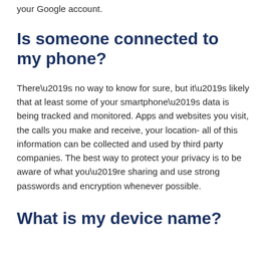your Google account.
Is someone connected to my phone?
There’s no way to know for sure, but it’s likely that at least some of your smartphone’s data is being tracked and monitored. Apps and websites you visit, the calls you make and receive, your location- all of this information can be collected and used by third party companies. The best way to protect your privacy is to be aware of what you’re sharing and use strong passwords and encryption whenever possible.
What is my device name?